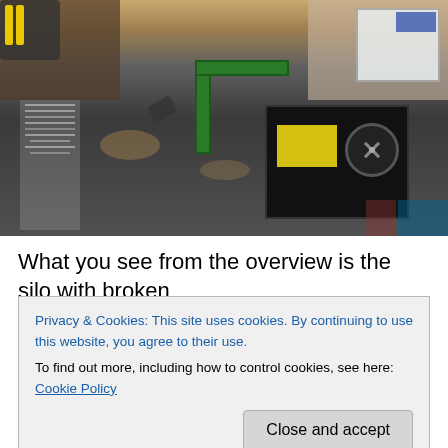[Figure (photo): Overhead/top-down view of a workbench with electronic components, tools, a black device with a yellow label and fan, green cable, cardboard, and sawdust scattered around.]
What you see from the overview is the silo with broken feeder pipe and the generator that's partly underground
Privacy & Cookies: This site uses cookies. By continuing to use this website, you agree to their use.
To find out more, including how to control cookies, see here: Cookie Policy
Close and accept
So basically that's translated into the little fireplace..